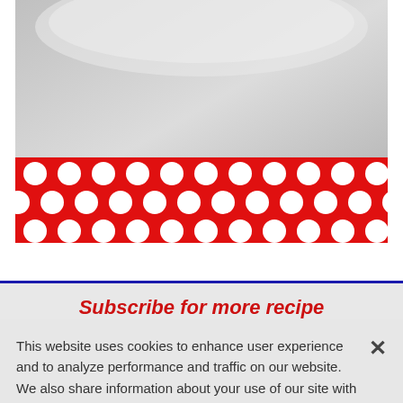[Figure (photo): Partial view of a food/recipe image with a gray background, showing top portion of a dish]
[Figure (illustration): Blue 'Get Recipe' button overlaid on the image]
[Figure (illustration): Red polka-dot decorative band at the bottom of the image area]
Subscribe for more recipe
This website uses cookies to enhance user experience and to analyze performance and traffic on our website. We also share information about your use of our site with our social media, advertising and analytics partners. Link to Cookie Policy